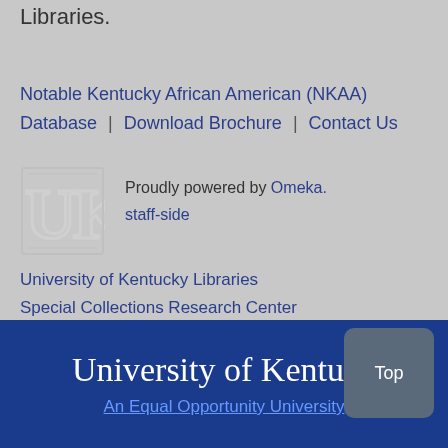Libraries.
Notable Kentucky African American (NKAA) Database | Download Brochure | Contact Us
[Figure (logo): University of Kentucky interlocking UK logo in white outline on grey background]
Proudly powered by Omeka. staff-side
University of Kentucky Libraries
Special Collections Research Center
Contact: Reinette Jones
University of Kentucky
An Equal Opportunity University